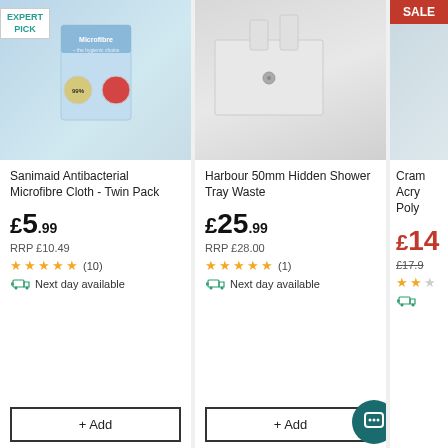[Figure (photo): Sanimaid Antibacterial Microfibre Cloth product packaging with blue and white design, 99% bacteria claim, twin pack]
Sanimaid Antibacterial Microfibre Cloth - Twin Pack
£5.99
RRP £10.49
★★★★★ (10)
Next day available
+ Add
[Figure (photo): Harbour 50mm Hidden Shower Tray Waste white product on grey background]
Harbour 50mm Hidden Shower Tray Waste
£25.99
RRP £28.00
★★★★★ (1)
Next day available
+ Add
[Figure (photo): Partially visible third product with SALE badge]
Cram... Acry... Poly...
£14...
£17.9... (strikethrough)
★★★ (partial)
Next day available (partial)